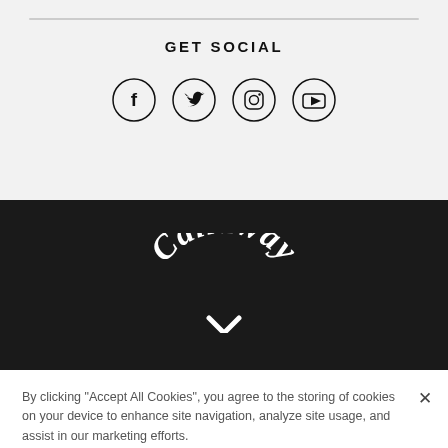GET SOCIAL
[Figure (illustration): Four circular social media icons in a row: Facebook (f), Twitter (bird), Instagram (camera), YouTube (play button). Each icon is a circle outline with the respective symbol inside.]
[Figure (logo): Callaway Golf logo in white on dark background. Stylized 'Callaway' text in gothic/serif font arched above a chevron/checkmark symbol.]
By clicking “Accept All Cookies”, you agree to the storing of cookies on your device to enhance site navigation, analyze site usage, and assist in our marketing efforts.
Cookies Settings
Accept All Cookies